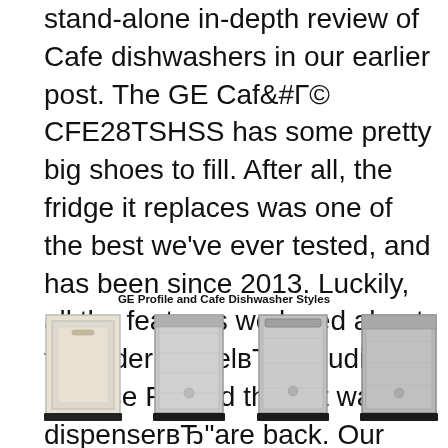stand-alone in-depth review of Cafe dishwashers in our earlier post. The GE Café CFE28TSHSS has some pretty big shoes to fill. After all, the fridge it replaces was one of the best we've ever tested, and has been since 2013. Luckily, all the features we loved about the older model—including Precise Fill and the hot water dispenser—are back. Our tests also proved this fridge has no problems preserving fresh
GE Profile and Cafe Dishwasher Styles
[Figure (photo): Four dishwasher images side by side: panel-ready white, built-in stainless, built-in stainless with handle, built-in stainless]